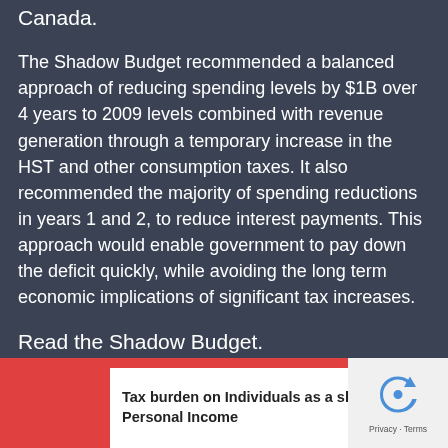Canada.
The Shadow Budget recommended a balanced approach of reducing spending levels by $1B over 4 years to 2009 levels combined with revenue generation through a temporary increase in the HST and other consumption taxes.  It also recommended the majority of spending reductions in years 1 and 2, to reduce interest payments. This approach would enable government to pay down the deficit quickly, while avoiding the long term economic implications of significant tax increases.
Read the Shadow Budget.
Tax burden on Individuals as a share of Personal Income